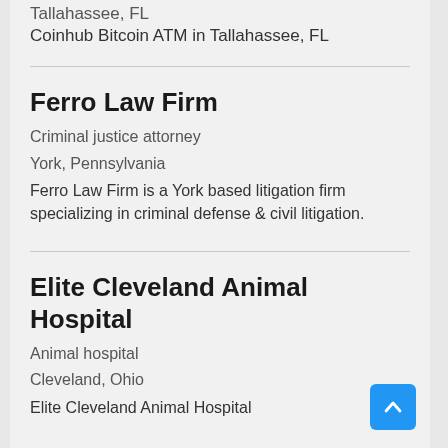Tallahassee, FL
Coinhub Bitcoin ATM in Tallahassee, FL
Ferro Law Firm
Criminal justice attorney
York, Pennsylvania
Ferro Law Firm is a York based litigation firm specializing in criminal defense & civil litigation.
Elite Cleveland Animal Hospital
Animal hospital
Cleveland, Ohio
Elite Cleveland Animal Hospital